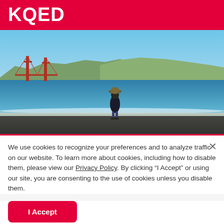KQED
[Figure (photo): Person standing on a dark sandy beach facing the Golden Gate Bridge across the San Francisco Bay, with green hills in the background and blue sky above.]
We use cookies to recognize your preferences and to analyze traffic on our website. To learn more about cookies, including how to disable them, please view our Privacy Policy. By clicking “I Accept” or using our site, you are consenting to the use of cookies unless you disable them.
I Accept